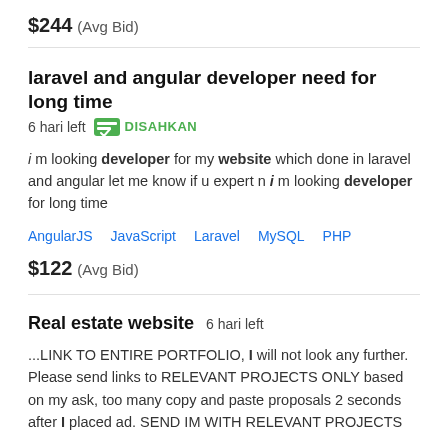$244  (Avg Bid)
laravel and angular developer need for long time
6 hari left   DISAHKAN
i m looking developer for my website which done in laravel and angular let me know if u expert n i m looking developer for long time
AngularJS   JavaScript   Laravel   MySQL   PHP
$122  (Avg Bid)
Real estate website   6 hari left
...LINK TO ENTIRE PORTFOLIO, I will not look any further. Please send links to RELEVANT PROJECTS ONLY based on my ask, too many copy and paste proposals 2 seconds after I placed ad. SEND IM WITH RELEVANT PROJECTS